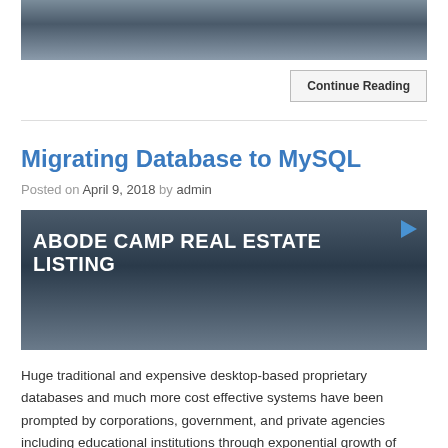[Figure (photo): Top portion of a street scene with townhouses/row houses and a white car on the road, cropped at top of page]
Continue Reading
Migrating Database to MySQL
Posted on April 9, 2018 by admin
[Figure (screenshot): Video thumbnail showing street scene with townhouses and text overlay 'ABODE CAMP REAL ESTATE LISTING' with play button icon]
Huge traditional and expensive desktop-based proprietary databases and much more cost effective systems have been prompted by corporations, government, and private agencies including educational institutions through exponential growth of